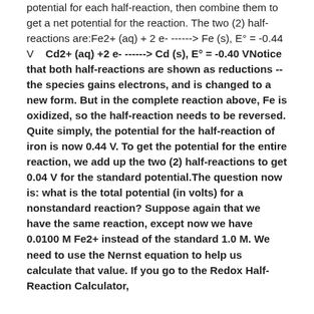potential for each half-reaction, then combine them to get a net potential for the reaction. The two (2) half-reactions are:Fe2+ (aq) + 2 e- -------> Fe (s), E° = -0.44 V   Cd2+ (aq) +2 e- ------> Cd (s), E° = -0.40 VNotice that both half-reactions are shown as reductions -- the species gains electrons, and is changed to a new form. But in the complete reaction above, Fe is oxidized, so the half-reaction needs to be reversed. Quite simply, the potential for the half-reaction of iron is now 0.44 V. To get the potential for the entire reaction, we add up the two (2) half-reactions to get 0.04 V for the standard potential.The question now is: what is the total potential (in volts) for a nonstandard reaction? Suppose again that we have the same reaction, except now we have 0.0100 M Fe2+ instead of the standard 1.0 M. We need to use the Nernst equation to help us calculate that value. If you go to the Redox Half-Reaction Calculator,